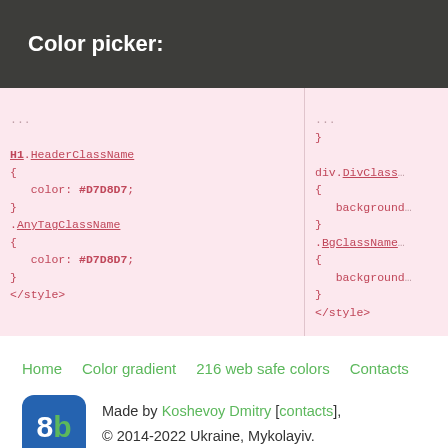Color picker:
[Figure (screenshot): Two side-by-side code panels showing CSS code with color picker output. Left panel shows H1.HeaderClassName, .AnyTagClassName rules with color: #D7D8D7 and closing </style>. Right panel (partial) shows closing brace, div.DivClass..., .BgClassName... with background properties and </style>.]
Home
Color gradient
216 web safe colors
Contacts
Made by Koshevoy Dmitry [contacts],
© 2014-2022 Ukraine, Mykolayiv.